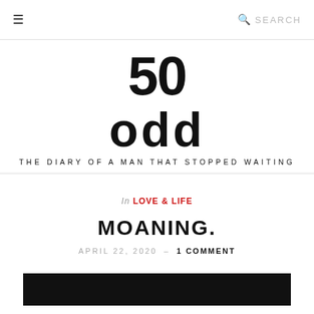≡  🔍 SEARCH
[Figure (logo): 50odd logo in bold black text with tagline 'THE DIARY OF A MAN THAT STOPPED WAITING']
THE DIARY OF A MAN THAT STOPPED WAITING
In LOVE & LIFE
MOANING.
APRIL 22, 2020 — 1 COMMENT
[Figure (photo): Dark/black image preview at bottom of page]